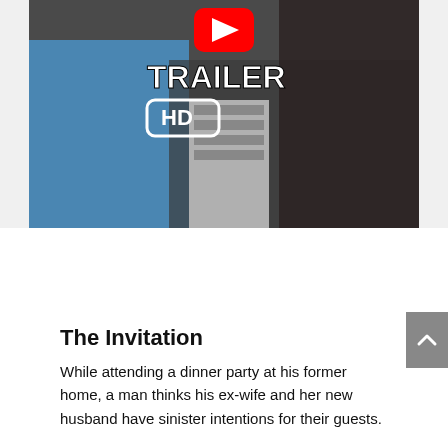[Figure (screenshot): YouTube trailer thumbnail showing 'TRAILER HD' text overlay with a YouTube play button logo in red, over a movie scene with people]
The Invitation
While attending a dinner party at his former home, a man thinks his ex-wife and her new husband have sinister intentions for their guests.